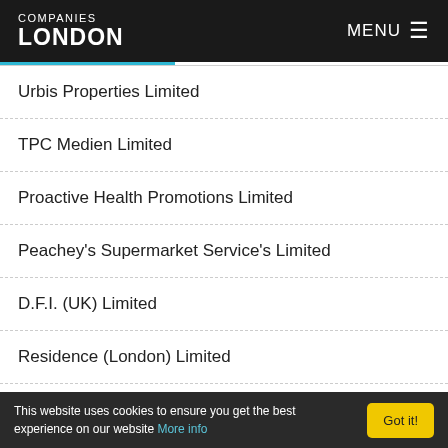COMPANIES LONDON | MENU
Urbis Properties Limited
TPC Medien Limited
Proactive Health Promotions Limited
Peachey's Supermarket Service's Limited
D.F.I. (UK) Limited
Residence (London) Limited
Colchester Fan Marketing Company Limited
This website uses cookies to ensure you get the best experience on our website More info   Got it!